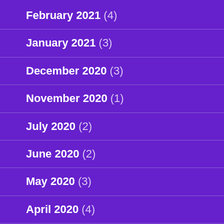February 2021 (4)
January 2021 (3)
December 2020 (3)
November 2020 (1)
July 2020 (2)
June 2020 (2)
May 2020 (3)
April 2020 (4)
March 2020 (2)